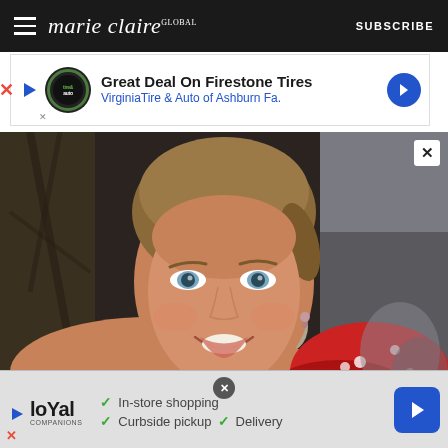marie claire — SUBSCRIBE
[Figure (screenshot): Advertisement banner: Great Deal On Firestone Tires — VirginiaTire & Auto of Ashburn Fa.]
[Figure (photo): A smiling blonde woman with her hair pulled back, wearing a red polka dot dress, photographed at an event with blurred background.]
[Figure (screenshot): Advertisement banner: Loyal Companions — In-store shopping, Curbside pickup, Delivery]